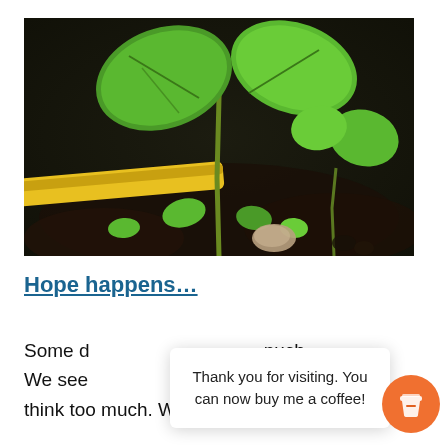[Figure (photo): Close-up photo of green seedling plants growing in dark soil, with a yellow garden tool or stake visible on the left side.]
Hope happens…
Some d                                                    nuch. We see                                                  . W think too much. We feel too much. Like a
Thank you for visiting. You can now buy me a coffee!